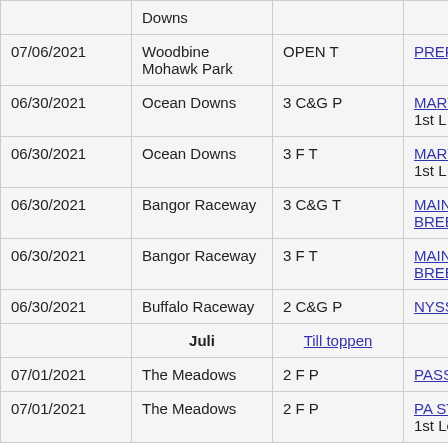| Date | Track | Class | Stakes |
| --- | --- | --- | --- |
|  | Downs |  |  |
| 07/06/2021 | Woodbine Mohawk Park | OPEN T | PREFERRED |
| 06/30/2021 | Ocean Downs | 3 C&G P | MARYLAND SS 1st L |
| 06/30/2021 | Ocean Downs | 3 F T | MARYLAND SS 1st L |
| 06/30/2021 | Bangor Raceway | 3 C&G T | MAINE BREEDERS S |
| 06/30/2021 | Bangor Raceway | 3 F T | MAINE BREEDERS S |
| 06/30/2021 | Buffalo Raceway | 2 C&G P | NYSS 1st Leg |
|  | Juli | Till toppen |  |
| 07/01/2021 | The Meadows | 2 F P | PASS 1st Leg |
| 07/01/2021 | The Meadows | 2 F P | PA STALLION 1st Leg |